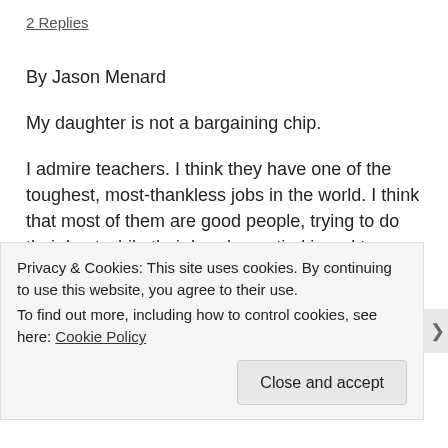2 Replies
By Jason Menard
My daughter is not a bargaining chip.
I admire teachers. I think they have one of the toughest, most-thankless jobs in the world. I think that most of them are good people, trying to do their best while their hands are tied in red tape.
I also know that if teachers decide to withhold extracurricular services to students, as part of their protest of Tuesday's
Privacy & Cookies: This site uses cookies. By continuing to use this website, you agree to their use.
To find out more, including how to control cookies, see here: Cookie Policy
Close and accept